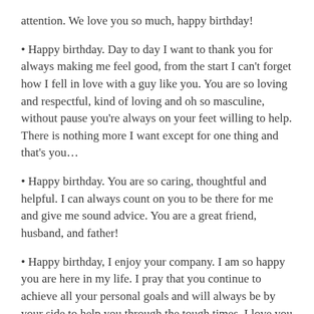attention. We love you so much, happy birthday!
Happy birthday. Day to day I want to thank you for always making me feel good, from the start I can’t forget how I fell in love with a guy like you. You are so loving and respectful, kind of loving and oh so masculine, without pause you’re always on your feet willing to help. There is nothing more I want except for one thing and that’s you…
Happy birthday. You are so caring, thoughtful and helpful. I can always count on you to be there for me and give me sound advice. You are a great friend, husband, and father!
Happy birthday, I enjoy your company. I am so happy you are here in my life. I pray that you continue to achieve all your personal goals and will always be by your side to help you through the tough times. I love you Bubba!!